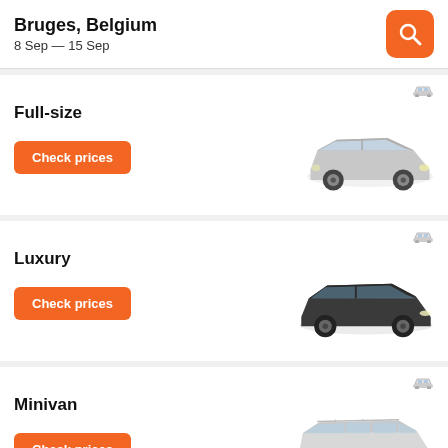Bruges, Belgium
8 Sep — 15 Sep
Full-size
Check prices
[Figure (illustration): Silver full-size sedan car]
Luxury
Check prices
[Figure (illustration): Dark/black luxury sedan car]
Minivan
Check prices
[Figure (illustration): White/silver minivan car]